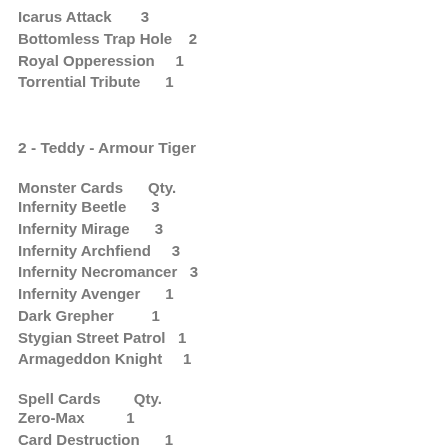Icarus Attack    3
Bottomless Trap Hole    2
Royal Opperession    1
Torrential Tribute    1
2 - Teddy - Armour Tiger
Monster Cards    Qty.
Infernity Beetle    3
Infernity Mirage    3
Infernity Archfiend    3
Infernity Necromancer    3
Infernity Avenger    1
Dark Grepher    1
Stygian Street Patrol    1
Armageddon Knight    1
Spell Cards    Qty.
Zero-Max    1
Card Destruction    1
Reinforcement of the Army    1